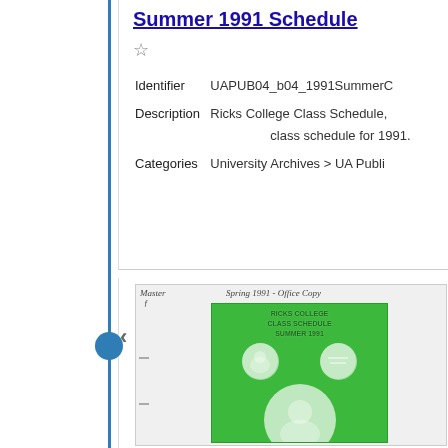Summer 1991 Schedule
Identifier    UAPUB04_b04_1991SummerC
DescriptionRicks College Class Schedule, class schedule for 1991.
Categories University Archives > UA Publi
[Figure (photo): Scanned document cover of Ricks College Summer 1991 Class Schedule, green cover with circular photo collage images of students, with handwritten annotation 'Spring 1991 - Office Copy' and a master stamp]